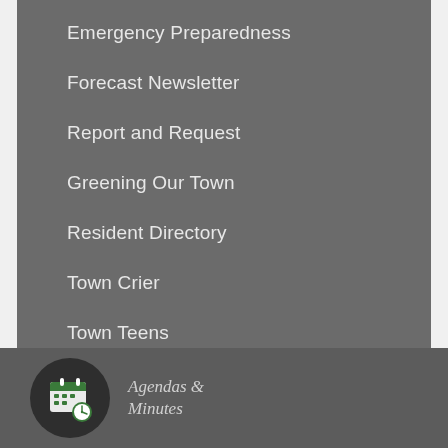Emergency Preparedness
Forecast Newsletter
Report and Request
Greening Our Town
Resident Directory
Town Crier
Town Teens
[Figure (illustration): Calendar icon with clock overlay inside a dark oval/circle, representing Agendas & Minutes]
Agendas & Minutes